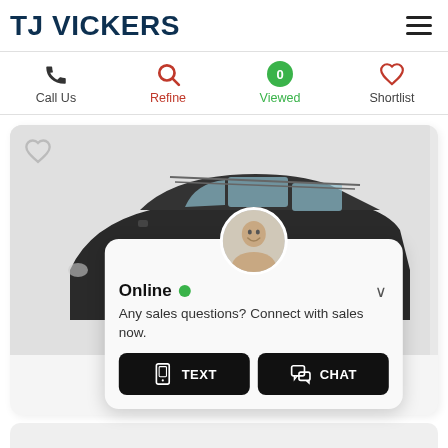TJ VICKERS
[Figure (screenshot): Navigation bar with Call Us, Refine, Viewed (0), and Shortlist icons]
[Figure (photo): Car listing card showing a dark grey SUV/crossover vehicle with a live chat popup overlay. The popup shows an agent avatar, Online status with green dot, message 'Any sales questions? Connect with sales now.' and two buttons: TEXT and CHAT]
Online • Any sales questions? Connect with sales now.
TEXT
CHAT